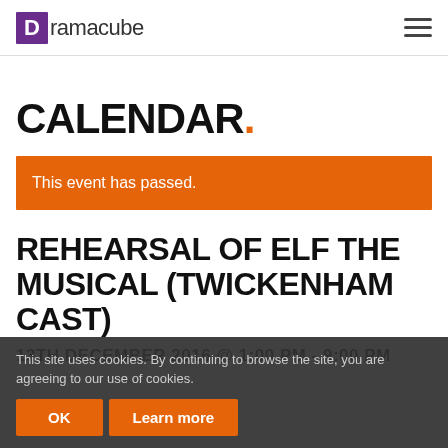Dramacube
CALENDAR.
This event has passed.
REHEARSAL OF ELF THE MUSICAL (TWICKENHAM CAST)
13TH DECEMBER 2016 @ 1:00 PM - 9:00 PM
This site uses cookies. By continuing to browse the site, you are agreeing to our use of cookies.